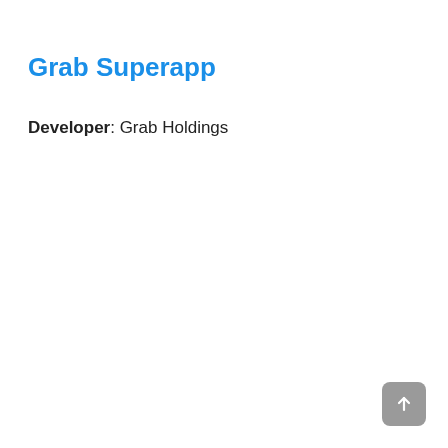Grab Superapp
Developer: Grab Holdings